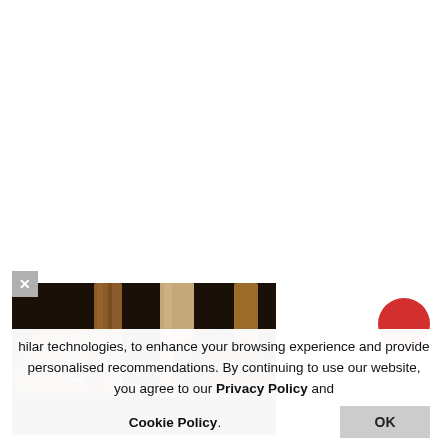[Figure (photo): Two hands gripping prison bars, close-up photograph showing fists wrapped around rusty metal bars]
hilar technologies, to enhance your browsing experience and provide personalised recommendations. By continuing to use our website, you agree to our Privacy Policy and Cookie Policy.